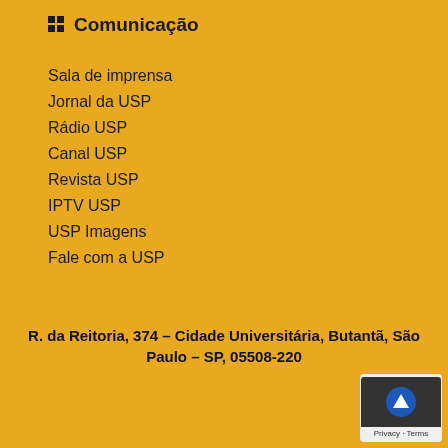Comunicação
Sala de imprensa
Jornal da USP
Rádio USP
Canal USP
Revista USP
IPTV USP
USP Imagens
Fale com a USP
R. da Reitoria, 374 – Cidade Universitária, Butantã, São Paulo – SP, 05508-220